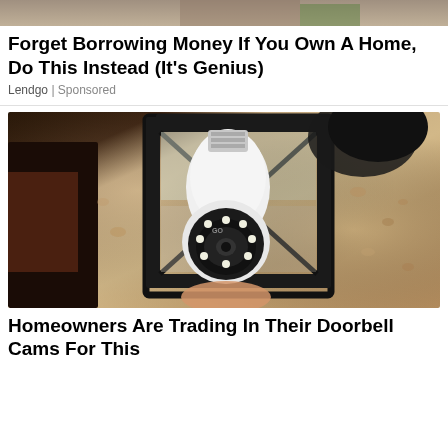[Figure (photo): Partial cropped image at top of page showing outdoors scene]
Forget Borrowing Money If You Own A Home, Do This Instead (It's Genius)
Lendgo | Sponsored
[Figure (photo): Photo of a security camera bulb installed inside an outdoor wall lantern fixture mounted on a textured stucco wall]
Homeowners Are Trading In Their Doorbell Cams For This